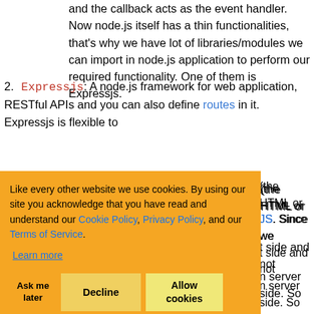and the callback acts as the event handler. Now node.js itself has a thin functionalities, that's why we have lot of libraries/modules we can import in node.js application to perform our required functionality. One of them is Expressjs.
2. Expressjs: A node.js framework for web application, RESTful APIs and you can also define routes in it. Expressjs is flexible to use any template framework (the HTML or EJS). Since we are working on client side and not on the server side. So Angular is the framework for our client to render our HTML to the endpoint to which HTML is generated once we build our project with Angular CLI build command (we will briefly look into it
Like every other website we use cookies. By using our site you acknowledge that you have read and understand our Cookie Policy, Privacy Policy, and our Terms of Service. Learn more
Ask me later   Decline   Allow cookies